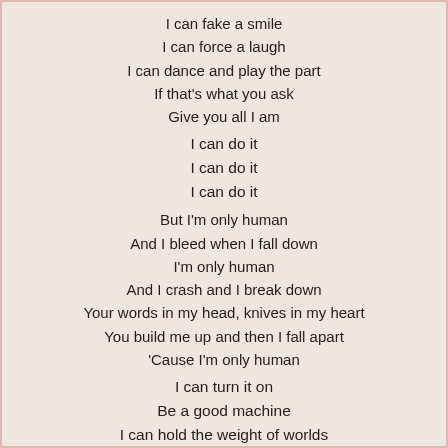I can fake a smile
I can force a laugh
I can dance and play the part
If that's what you ask
Give you all I am
I can do it
I can do it
I can do it
But I'm only human
And I bleed when I fall down
I'm only human
And I crash and I break down
Your words in my head, knives in my heart
You build me up and then I fall apart
'Cause I'm only human
I can turn it on
Be a good machine
I can hold the weight of worlds
If that's what you need